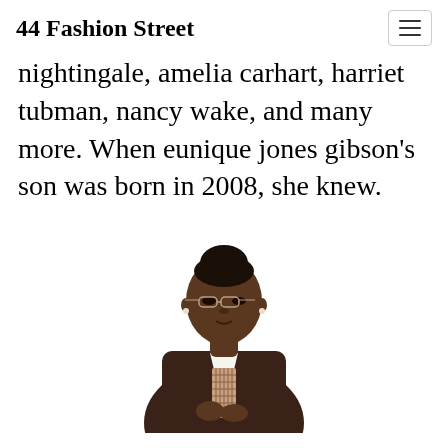44 Fashion Street
nightingale, amelia carhart, harriet tubman, nancy wake, and many more. When eunique jones gibson's son was born in 2008, she knew.
[Figure (photo): Young Black woman with hair up in a bun, wearing glasses, pearl earrings, a white collared shirt and dark brown cardigan, standing against a white background.]